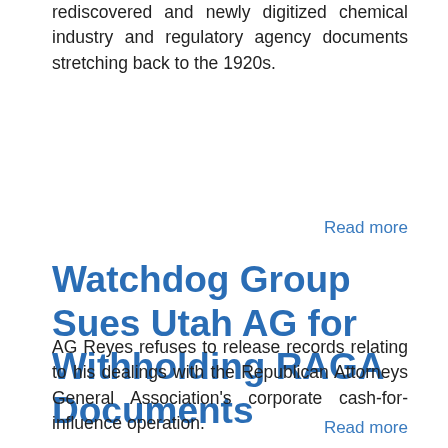rediscovered and newly digitized chemical industry and regulatory agency documents stretching back to the 1920s.
Read more
Watchdog Group Sues Utah AG for Withholding RAGA Documents
AG Reyes refuses to release records relating to his dealings with the Republican Attorneys General Association's corporate cash-for-influence operation.
Read more